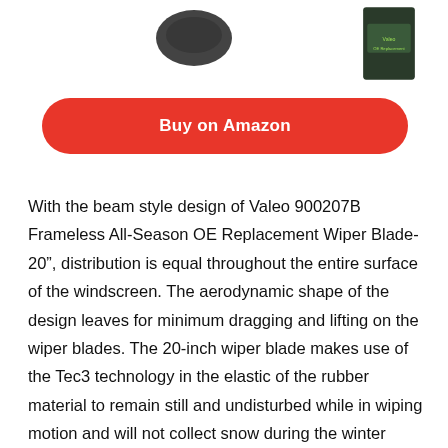[Figure (photo): Product images of wiper blade and packaging partially visible at top of page]
Buy on Amazon
With the beam style design of Valeo 900207B Frameless All-Season OE Replacement Wiper Blade- 20”, distribution is equal throughout the entire surface of the windscreen. The aerodynamic shape of the design leaves for minimum dragging and lifting on the wiper blades. The 20-inch wiper blade makes use of the Tec3 technology in the elastic of the rubber material to remain still and undisturbed while in wiping motion and will not collect snow during the winter season.